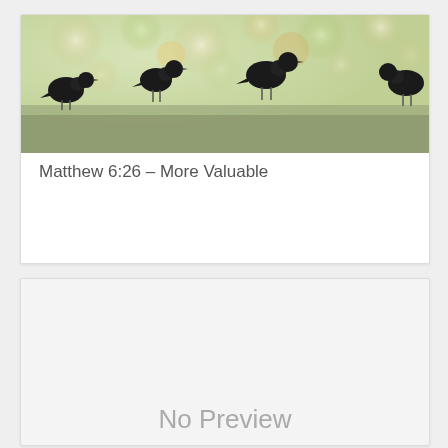[Figure (photo): Silhouettes of four birds perched on a surface against a blurred bokeh background of green and warm-toned foliage]
Matthew 6:26 – More Valuable
[Figure (photo): Second card with light gray background showing 'No Preview' text at bottom]